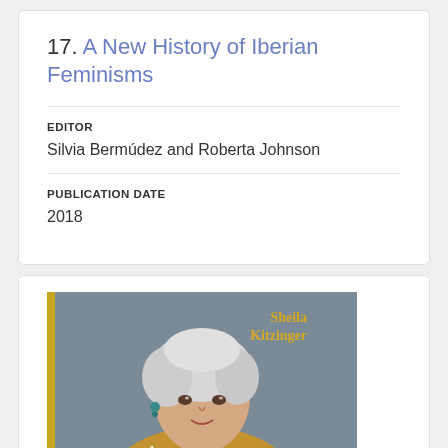17. A New History of Iberian Feminisms
EDITOR
Silvia Bermúdez and Roberta Johnson
PUBLICATION DATE
2018
[Figure (photo): Book cover of 'A Passion' by Sheila Kitzinger, showing an elderly woman with white hair and a warm expression against a grey background, wearing a golden/brown patterned top. The author name 'Sheila Kitzinger' appears in gold text at the top and the title 'A Passion' appears in white text at the bottom.]